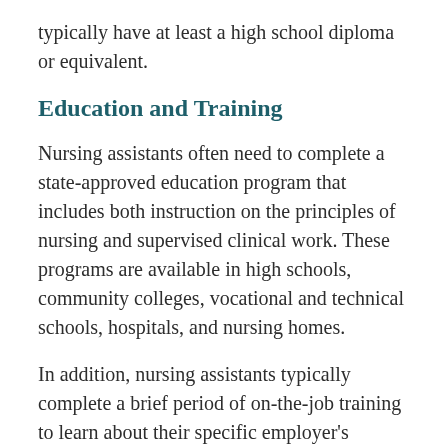typically have at least a high school diploma or equivalent.
Education and Training
Nursing assistants often need to complete a state-approved education program that includes both instruction on the principles of nursing and supervised clinical work. These programs are available in high schools, community colleges, vocational and technical schools, hospitals, and nursing homes.
In addition, nursing assistants typically complete a brief period of on-the-job training to learn about their specific employer's policies and procedures.
Orderlies typically have at least a high school diploma or equivalent and receive a short